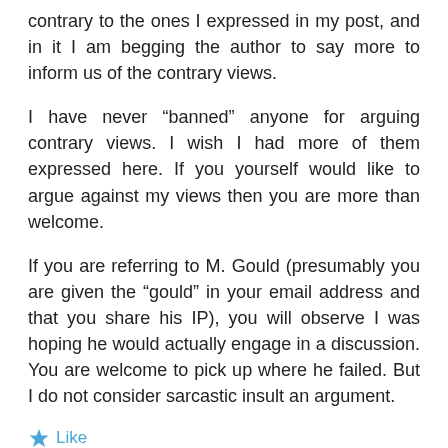contrary to the ones I expressed in my post, and in it I am begging the author to say more to inform us of the contrary views.
I have never “banned” anyone for arguing contrary views. I wish I had more of them expressed here. If you yourself would like to argue against my views then you are more than welcome.
If you are referring to M. Gould (presumably you are given the “gould” in your email address and that you share his IP), you will observe I was hoping he would actually engage in a discussion. You are welcome to pick up where he failed. But I do not consider sarcastic insult an argument.
Like